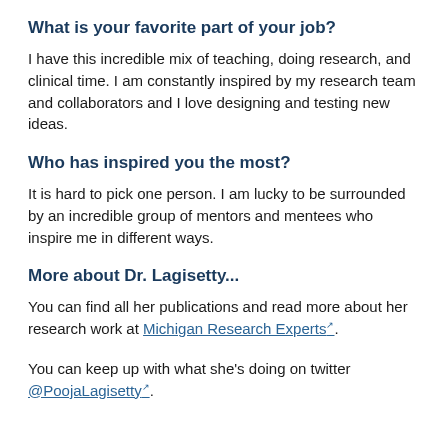What is your favorite part of your job?
I have this incredible mix of teaching, doing research, and clinical time. I am constantly inspired by my research team and collaborators and I love designing and testing new ideas.
Who has inspired you the most?
It is hard to pick one person. I am lucky to be surrounded by an incredible group of mentors and mentees who inspire me in different ways.
More about Dr. Lagisetty...
You can find all her publications and read more about her research work at Michigan Research Experts.
You can keep up with what she's doing on twitter @PoojaLagisetty.